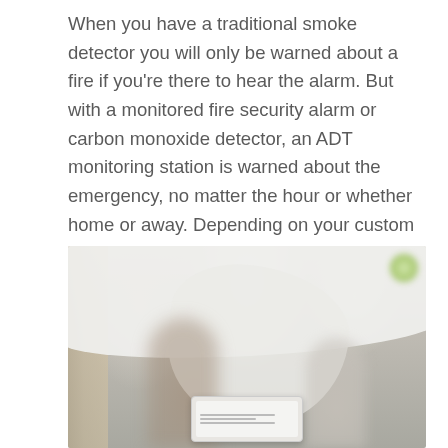When you have a traditional smoke detector you will only be warned about a fire if you're there to hear the alarm. But with a monitored fire security alarm or carbon monoxide detector, an ADT monitoring station is warned about the emergency, no matter the hour or whether home or away. Depending on your custom emergency situation plan, ADT will notify the appropriate personnel so they can assist with the threat. You can also have monitored water sensors to protect your home from water issues.
[Figure (photo): A blurred indoor photo showing children playing in a room with white sheets/cloth draped or used as a fort, with a smart home device/tablet visible in the foreground at the bottom of the image. A bookshelf is partially visible on the left side.]